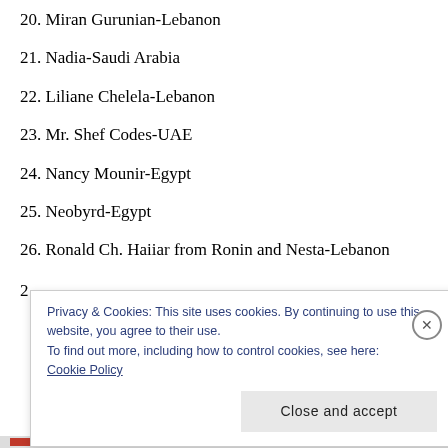20. Miran Gurunian-Lebanon
21. Nadia-Saudi Arabia
22. Liliane Chelela-Lebanon
23. Mr. Shef Codes-UAE
24. Nancy Mounir-Egypt
25. Neobyrd-Egypt
26. Ronald Ch. Haiiar from Ronin and Nesta-Lebanon
2
Privacy & Cookies: This site uses cookies. By continuing to use this website, you agree to their use.
To find out more, including how to control cookies, see here: Cookie Policy
Close and accept